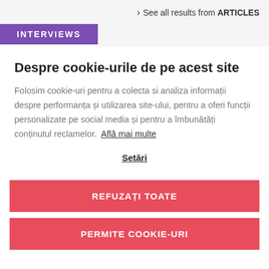> See all results from ARTICLES
INTERVIEWS
Despre cookie-urile de pe acest site
Folosim cookie-uri pentru a colecta si analiza informații despre performanța și utilizarea site-ului, pentru a oferi funcții personalizate pe social media și pentru a îmbunătăți conținutul reclamelor. Află mai multe
Setări
REFUZAȚI TOATE
PERMITE COOKIE-URI